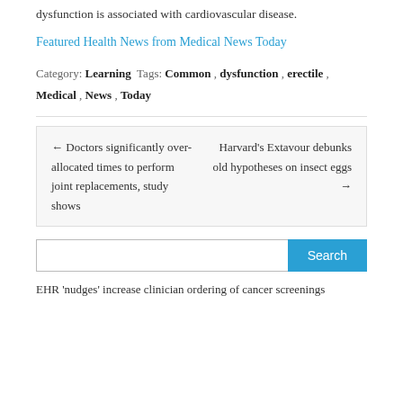dysfunction is associated with cardiovascular disease.
Featured Health News from Medical News Today
Category: Learning Tags: Common, dysfunction, erectile, Medical, News, Today
← Doctors significantly over-allocated times to perform joint replacements, study shows
Harvard's Extavour debunks old hypotheses on insect eggs →
EHR 'nudges' increase clinician ordering of cancer screenings